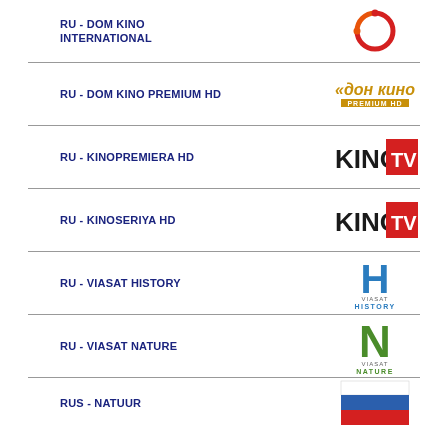RU - DOM KINO INTERNATIONAL
[Figure (logo): Dom Kino International circular logo in red and orange]
RU - DOM KINO PREMIUM HD
[Figure (logo): Dom Kino Premium HD logo in gold/orange Cyrillic text]
RU - KINOPREMIERA HD
[Figure (logo): KINO TV logo with red TV box]
RU - KINOSERIYA HD
[Figure (logo): KINO TV logo with red TV box]
RU - VIASAT HISTORY
[Figure (logo): Viasat History logo with blue H letter]
RU - VIASAT NATURE
[Figure (logo): Viasat Nature logo with green N letter]
RUS - NATUUR
[Figure (logo): Russian flag partial (blue, white, red stripes)]